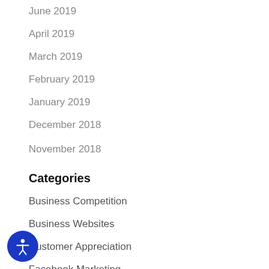June 2019
April 2019
March 2019
February 2019
January 2019
December 2018
November 2018
Categories
Business Competition
Business Websites
Customer Appreciation
Facebook Marketing
Local Search
PracticeFuel Posts